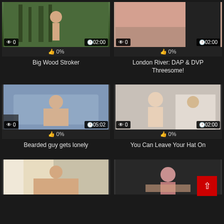[Figure (screenshot): Video thumbnail grid showing adult video website with 6 video cards in 2-column layout. Row 1: 'Big Wood Stroker' (0 views, 02:00, 0%), 'London River: DAP & DVP Threesome!' (0 views, 02:00, 0%). Row 2: 'Bearded guy gets lonely' (0 views, 05:02, 0%), 'You Can Leave Your Hat On' (0 views, 02:00, 0%). Row 3: two partially visible thumbnails. Scroll-to-top red button visible bottom right.]